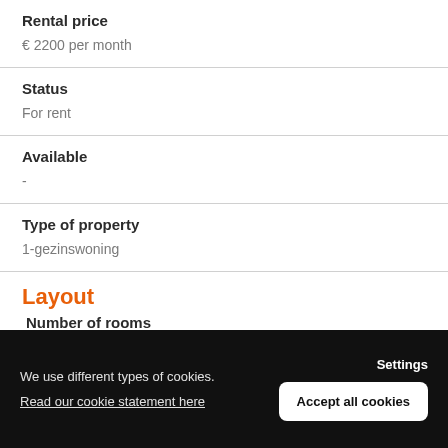Rental price
€ 2200 per month
Status
For rent
Available
-
Type of property
1-gezinswoning
Layout
Number of rooms
We use different types of cookies.
Read our cookie statement here
Settings
Accept all cookies